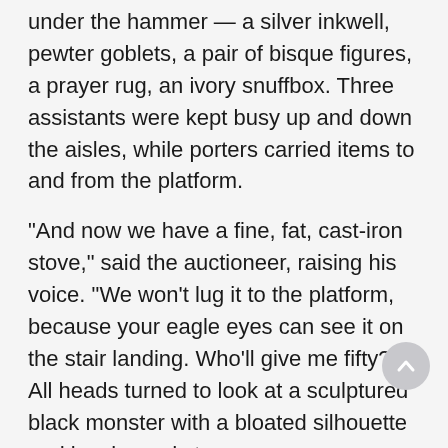under the hammer — a silver inkwell, pewter goblets, a pair of bisque figures, a prayer rug, an ivory snuffbox. Three assistants were kept busy up and down the aisles, while porters carried items to and from the platform.
"And now we have a fine, fat, cast-iron stove," said the auctioneer, raising his voice. "We won't lug it to the platform, because your eagle eyes can see it on the stair landing. Who'll give me fifty?" All heads turned to look at a sculptured black monster with a bloated silhouette and bowlegged stance.
"Fifty I have — who'll say seventy-five? — it's a beauty.... Seventy-five is bid — do I hear a hundred? — you're getting it